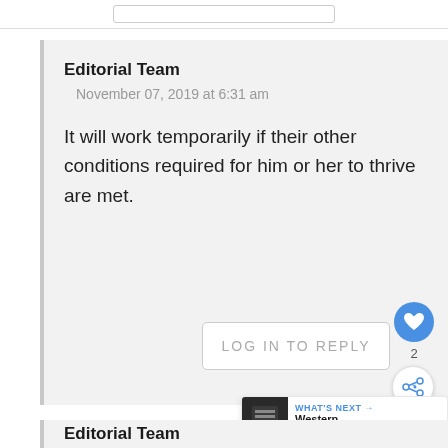Editorial Team
November 07, 2019 at 6:31 am
It will work temporarily if their other conditions required for him or her to thrive are met.
LOG IN TO REPLY
Editorial Team